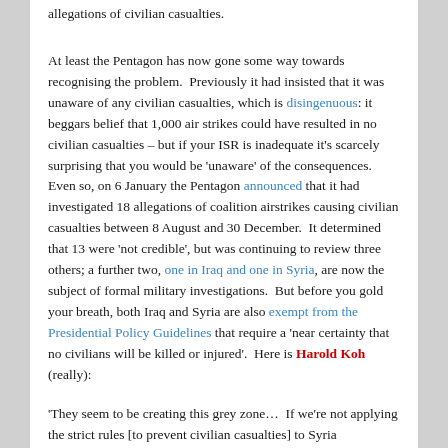allegations of civilian casualties.
At least the Pentagon has now gone some way towards recognising the problem.  Previously it had insisted that it was unaware of any civilian casualties, which is disingenuous: it beggars belief that 1,000 air strikes could have resulted in no civilian casualties – but if your ISR is inadequate it's scarcely surprising that you would be 'unaware' of the consequences.  Even so, on 6 January the Pentagon announced that it had investigated 18 allegations of coalition airstrikes causing civilian casualties between 8 August and 30 December.  It determined that 13 were 'not credible', but was continuing to review three others; a further two, one in Iraq and one in Syria, are now the subject of formal military investigations.  But before you gold your breath, both Iraq and Syria are also exempt from the Presidential Policy Guidelines that require a 'near certainty that no civilians will be killed or injured'.  Here is Harold Koh (really):
'They seem to be creating this grey zone…  If we're not applying the strict rules [to prevent civilian casualties] to Syria